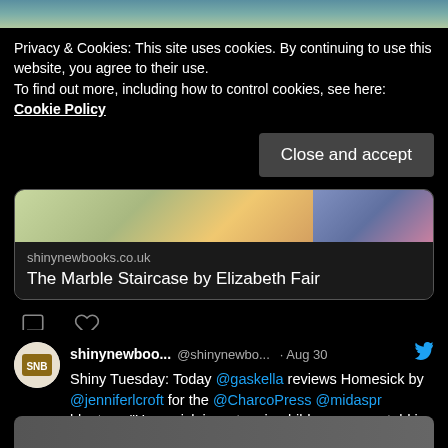[Figure (screenshot): Top image strip showing partial scenic image]
Privacy & Cookies: This site uses cookies. By continuing to use this website, you agree to their use.
To find out more, including how to control cookies, see here: Cookie Policy
Close and accept
[Figure (screenshot): Embedded link card showing shinynewbooks.co.uk - The Marble Staircase by Elizabeth Fair, with scenic image]
[Figure (screenshot): Tweet icons (comment and heart)]
shinynewboo... @shinynewbo... · Aug 30
Shiny Tuesday: Today @gaskella reviews Homesick by @jenniferlcroft for the @CharcoPress @midaspr blogtour. "Homesick is a stunning bildungsroman told in an idiosyncratic style" shinynewbooks.co.uk/homesick-by-je...
[Figure (screenshot): Partial image preview at bottom of page]